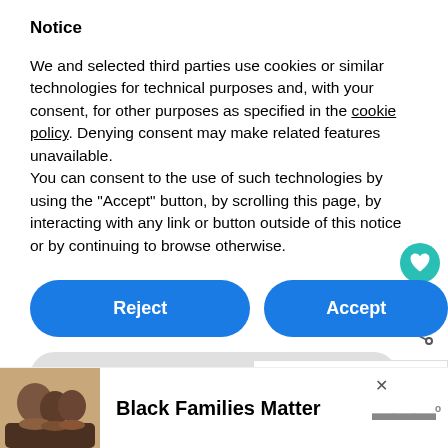Notice
We and selected third parties use cookies or similar technologies for technical purposes and, with your consent, for other purposes as specified in the cookie policy. Denying consent may make related features unavailable.
You can consent to the use of such technologies by using the “Accept” button, by scrolling this page, by interacting with any link or button outside of this notice or by continuing to browse otherwise.
[Figure (screenshot): Blue Reject button on the left and blue Accept button on the right, with a teal heart icon above and a share icon]
[Figure (screenshot): Gray Learn more and customize button, and a What's Next panel showing Packing List for the...]
[Figure (infographic): Advertisement banner: photo of smiling family, text Black Families Matter, with a close button and a logo]